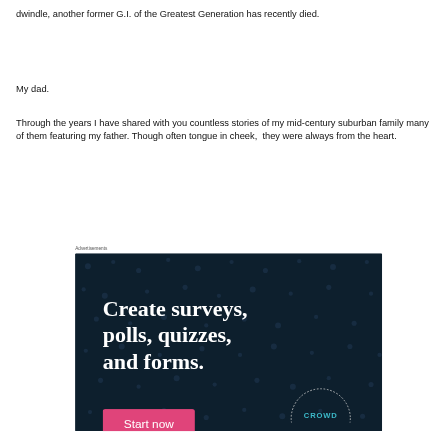dwindle, another former G.I. of the Greatest Generation has recently died.
My dad.
Through the years I have shared with you countless stories of my mid-century suburban family many of them featuring my father. Though often tongue in cheek,  they were always from the heart.
Advertisements
[Figure (other): Advertisement banner for Crowd (survey/poll/quiz/form creation tool) with dark navy background, white bold text reading 'Create surveys, polls, quizzes, and forms.' and a pink 'Start now' button.]